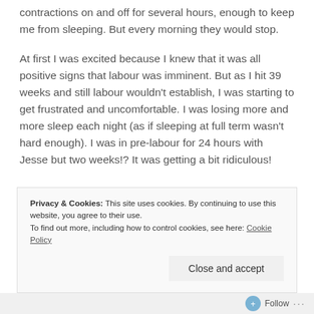contractions on and off for several hours, enough to keep me from sleeping. But every morning they would stop.
At first I was excited because I knew that it was all positive signs that labour was imminent. But as I hit 39 weeks and still labour wouldn't establish, I was starting to get frustrated and uncomfortable. I was losing more and more sleep each night (as if sleeping at full term wasn't hard enough). I was in pre-labour for 24 hours with Jesse but two weeks!? It was getting a bit ridiculous!
Privacy & Cookies: This site uses cookies. By continuing to use this website, you agree to their use.
To find out more, including how to control cookies, see here: Cookie Policy
Close and accept
Follow ···